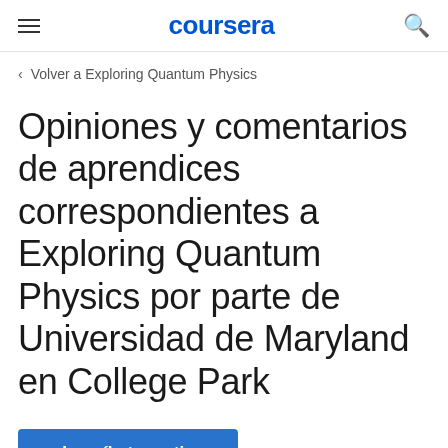coursera
< Volver a Exploring Quantum Physics
Opiniones y comentarios de aprendices correspondientes a Exploring Quantum Physics por parte de Universidad de Maryland en College Park
Inscríbete gratis
Comienza el 20 de ago.